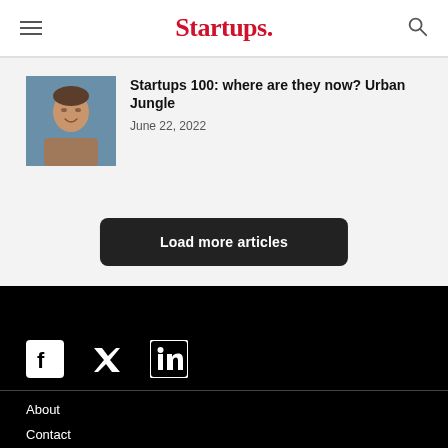Startups.
Startups 100: where are they now? Urban Jungle
June 22, 2022
Load more articles
[Figure (illustration): Social media icons: Facebook, Twitter, LinkedIn on black background]
About
Contact